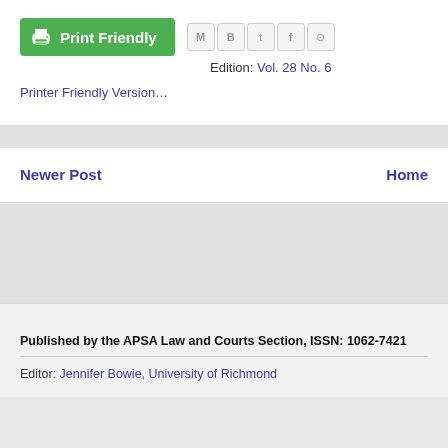[Figure (other): Print Friendly button with printer icon in green, and social sharing icons (email, blogger, twitter, facebook, pinterest)]
Edition: Vol. 28 No. 6
Printer Friendly Version…
Newer Post
Home
Published by the APSA Law and Courts Section, ISSN: 1062-7421
Editor: Jennifer Bowie, University of Richmond